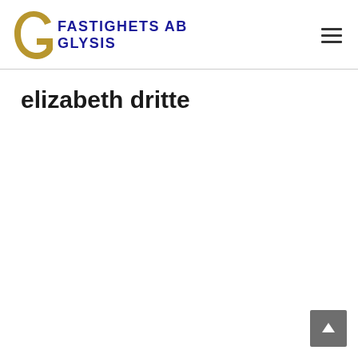[Figure (logo): Fastighets AB Glysis logo with golden letter G and blue bold text FASTIGHETS AB GLYSIS]
elizabeth dritte